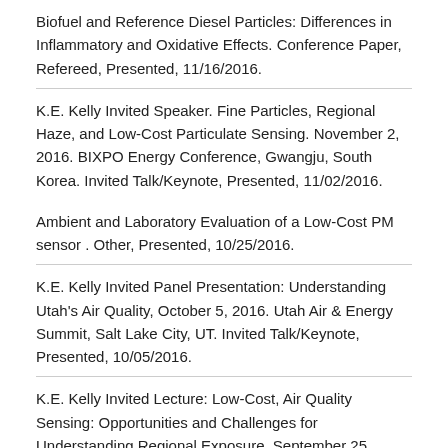Biofuel and Reference Diesel Particles: Differences in Inflammatory and Oxidative Effects. Conference Paper, Refereed, Presented, 11/16/2016.
K.E. Kelly Invited Speaker. Fine Particles, Regional Haze, and Low-Cost Particulate Sensing. November 2, 2016. BIXPO Energy Conference, Gwangju, South Korea. Invited Talk/Keynote, Presented, 11/02/2016.
Ambient and Laboratory Evaluation of a Low-Cost PM sensor . Other, Presented, 10/25/2016.
K.E. Kelly Invited Panel Presentation: Understanding Utah's Air Quality, October 5, 2016. Utah Air & Energy Summit, Salt Lake City, UT. Invited Talk/Keynote, Presented, 10/05/2016.
K.E. Kelly Invited Lecture: Low-Cost, Air Quality Sensing: Opportunities and Challenges for Understanding Regional Exposure. September 25, 2016. Massachusetts...